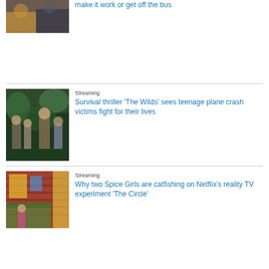[Figure (photo): Two people standing outdoors, one wearing leopard print coat]
make it work or get off the bus
[Figure (photo): Group of teenage girls in jungle/forest setting from The Wilds TV show]
Streaming
Survival thriller ‘The Wilds’ sees teenage plane crash victims fight for their lives
[Figure (photo): Colorful living room scene from The Circle Netflix show]
Streaming
Why two Spice Girls are catfishing on Netflix's reality TV experiment 'The Circle'